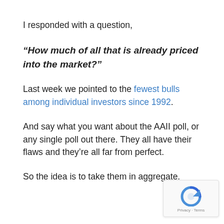I responded with a question,
“How much of all that is already priced into the market?”
Last week we pointed to the fewest bulls among individual investors since 1992.
And say what you want about the AAII poll, or any single poll out there. They all have their flaws and they’re all far from perfect.
So the idea is to take them in aggregate.